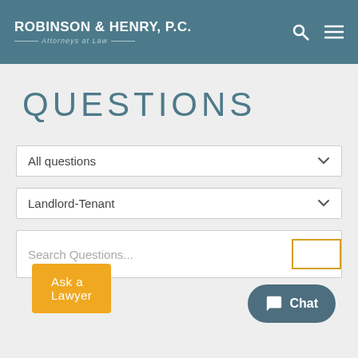ROBINSON & HENRY, P.C. — Attorneys at Law
QUESTIONS
All questions
Landlord-Tenant
Search Questions...
Ask a Lawyer
Chat